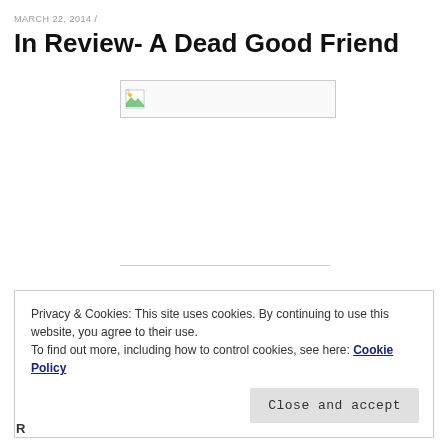MARCH 22, 2014 /
In Review- A Dead Good Friend
[Figure (photo): Broken/missing image placeholder with a small image icon in the top-left corner]
Privacy & Cookies: This site uses cookies. By continuing to use this website, you agree to their use.
To find out more, including how to control cookies, see here: Cookie Policy
Close and accept